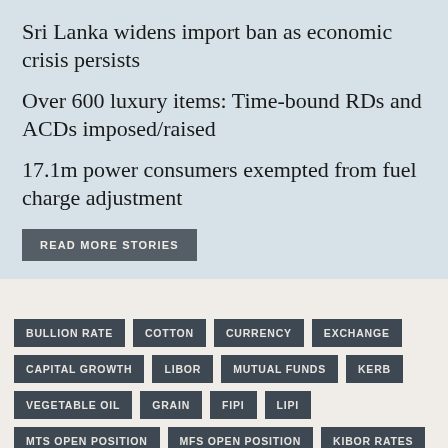Sri Lanka widens import ban as economic crisis persists
Over 600 luxury items: Time-bound RDs and ACDs imposed/raised
17.1m power consumers exempted from fuel charge adjustment
READ MORE STORIES
BULLION RATE
COTTON
CURRENCY
EXCHANGE
CAPITAL GROWTH
LIBOR
MUTUAL FUNDS
KERB
VEGETABLE OIL
GRAIN
FIPI
LIPI
MTS OPEN POSITION
MFS OPEN POSITION
KIBOR RATES
LIBOR RATES
PKRV RATES
NPB RATES
TFC RATES
UIN WISE SETTLEMENT
FUTURE OPEN INTEREST